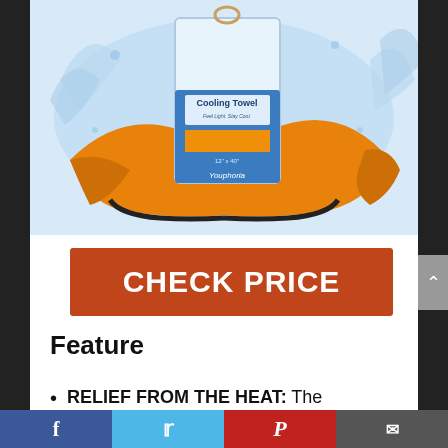[Figure (photo): Product photo of an orange cooling towel unfolded and spread out with water splashing around it, alongside its packaging — a bag labeled 'Cooling Towel, Feel Light. Stay Cool. 12"x40"' with the Youphoria brand logo.]
CHECK PRICE
Feature
RELIEF FROM THE HEAT: The